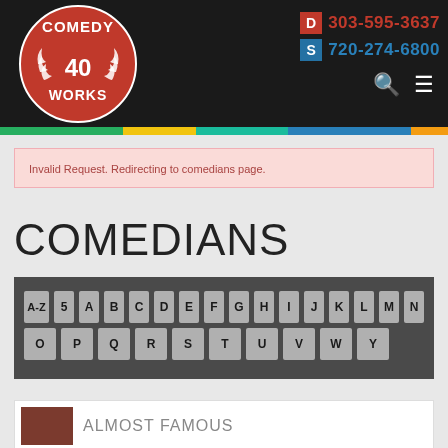[Figure (logo): Comedy Works 40 logo — red circle with white text 'COMEDY WORKS' and '40' with laurel wreath]
D 303-595-3637
S 720-274-6800
Invalid Request. Redirecting to comedians page.
COMEDIANS
A-Z 5 A B C D E F G H I J K L M N O P Q R S T U V W Y
ALMOST FAMOUS